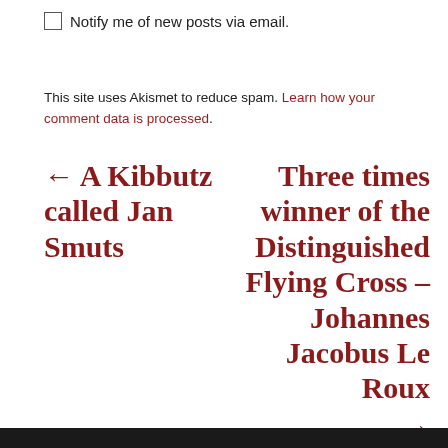Notify me of new posts via email.
This site uses Akismet to reduce spam. Learn how your comment data is processed.
← A Kibbutz called Jan Smuts
Three times winner of the Distinguished Flying Cross – Johannes Jacobus Le Roux →